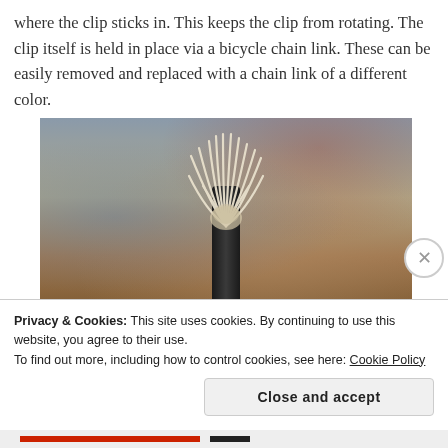where the clip sticks in. This keeps the clip from rotating. The clip itself is held in place via a bicycle chain link. These can be easily removed and replaced with a chain link of a different color.
[Figure (photo): A close-up photo of what appears to be a yarn or rope tassel attached to the top of a dark stick or chain, with a blurred background showing brown and blue tones.]
Privacy & Cookies: This site uses cookies. By continuing to use this website, you agree to their use.
To find out more, including how to control cookies, see here: Cookie Policy
Close and accept